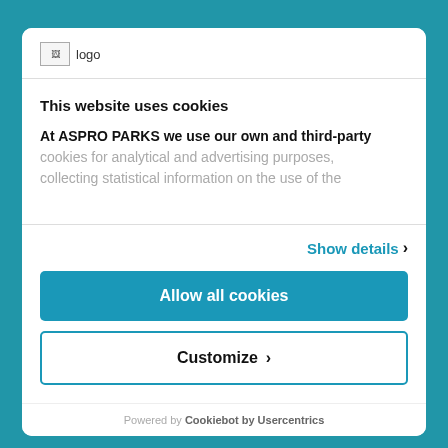[Figure (logo): Logo image placeholder in the top-left of the cookie consent modal header]
This website uses cookies
At ASPRO PARKS we use our own and third-party cookies for analytical and advertising purposes, collecting statistical information on the use of the
Show details ›
Allow all cookies
Customize ›
Powered by Cookiebot by Usercentrics